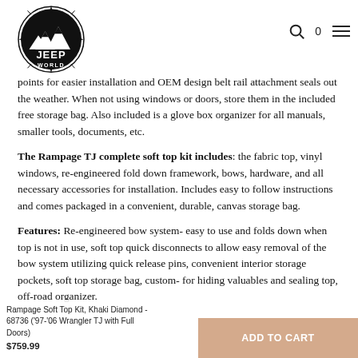Jeep World — logo header with search, cart (0), and menu icons
points for easier installation and OEM design belt rail attachment seals out the weather. When not using windows or doors, store them in the included free storage bag. Also included is a glove box organizer for all manuals, smaller tools, documents, etc.
The Rampage TJ complete soft top kit includes: the fabric top, vinyl windows, re-engineered fold down framework, bows, hardware, and all necessary accessories for installation. Includes easy to follow instructions and comes packaged in a convenient, durable, canvas storage bag.
Features: Re-engineered bow system- easy to use and folds down when top is not in use, soft top quick disconnects to allow easy removal of the bow system utilizing quick release pins, convenient interior storage pockets, soft top storage bag, custom- for hiding valuables and sealing top, off-road organizer.
Rampage Soft Top Kit, Khaki Diamond - 68736 ('97-'06 Wrangler TJ with Full Doors)
$759.99
ADD TO CART